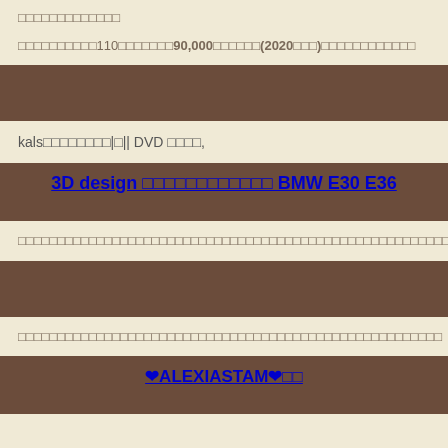□□□□□□□□□□□□□
□□□□□□□□□□110□□□□□□□90,000□□□□□□(2020□□□)□□□□□□□□□□□□
kals□□□□□□□□|□|| DVD □□□□,
3D design □□□□□□□□□□□□ BMW E30 E36
□□□□□□□□□□□□□□□□□□□□□□□□□□□□□□□□□□□□□□□□□□□□□□□□□□□□□□□□□□□□□□
□□□□□□□□□□□□□□□□□□□□□□□□□□□□□□□□□□□□□□□□□□□□□□□□□□□□□□
❤ALEXIASTAM❤□□